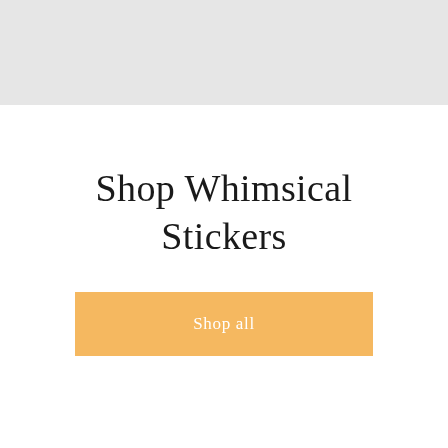[Figure (other): Gray background bar spanning the top portion of the page]
Shop Whimsical Stickers
Shop all